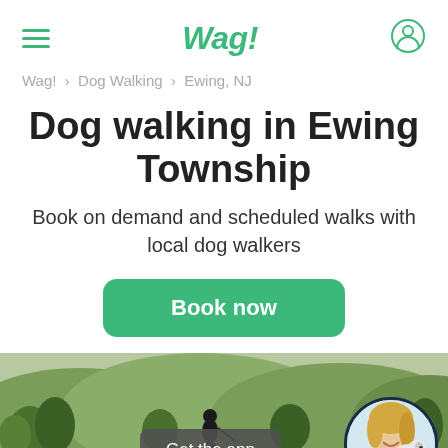Wag!
Wag! > Dog Walking > Ewing, NJ
Dog walking in Ewing Township
Book on demand and scheduled walks with local dog walkers
Book now
[Figure (photo): Bottom section showing a person walking a dog outdoors with trees/landscape in background, a 'Get the app' button overlay, and a circular photo of a smiling woman in green Wag! shirt with a white dog]
Get the app